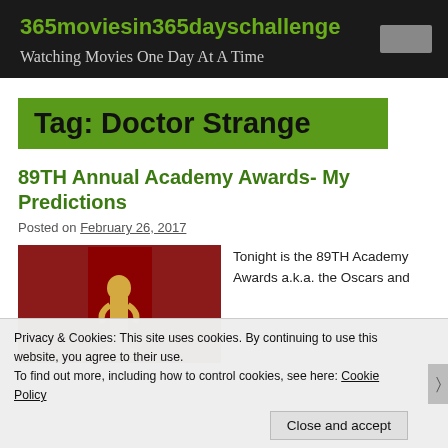365moviesin365dayschallenge
Watching Movies One Day At A Time
Tag: Doctor Strange
89TH Annual Academy Awards- My Predictions
Posted on February 26, 2017
[Figure (photo): Oscar statuette on red background]
Tonight is the 89TH Academy Awards a.k.a. the Oscars and
Privacy & Cookies: This site uses cookies. By continuing to use this website, you agree to their use. To find out more, including how to control cookies, see here: Cookie Policy